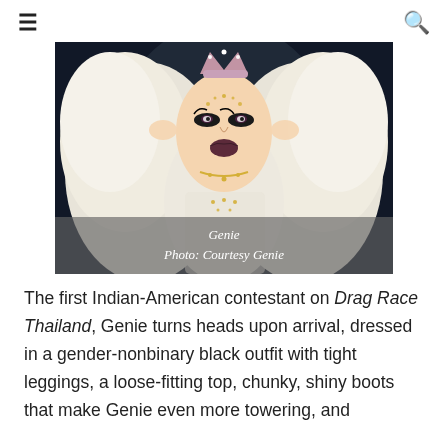☰   🔍
[Figure (photo): Drag performer Genie with long white hair, rhinestone crown/headpiece, glamorous dramatic makeup, and ornate costume against a dark background. Caption overlay reads: Genie / Photo: Courtesy Genie]
Genie
Photo: Courtesy Genie
The first Indian-American contestant on Drag Race Thailand, Genie turns heads upon arrival, dressed in a gender-nonbinary black outfit with tight leggings, a loose-fitting top, chunky, shiny boots that make Genie even more towering, and